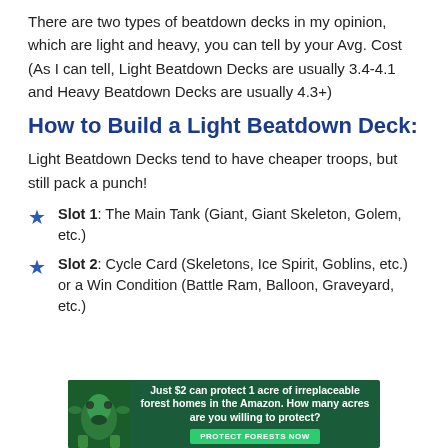There are two types of beatdown decks in my opinion, which are light and heavy, you can tell by your Avg. Cost (As I can tell, Light Beatdown Decks are usually 3.4-4.1 and Heavy Beatdown Decks are usually 4.3+)
How to Build a Light Beatdown Deck:
Light Beatdown Decks tend to have cheaper troops, but still pack a punch!
Slot 1: The Main Tank (Giant, Giant Skeleton, Golem, etc.)
Slot 2: Cycle Card (Skeletons, Ice Spirit, Goblins, etc.) or a Win Condition (Battle Ram, Balloon, Graveyard, etc.)
[Figure (infographic): Advertisement banner: green forest background with frog image, text 'Just $2 can protect 1 acre of irreplaceable forest homes in the Amazon. How many acres are you willing to protect?' with green 'PROTECT FORESTS NOW' button]